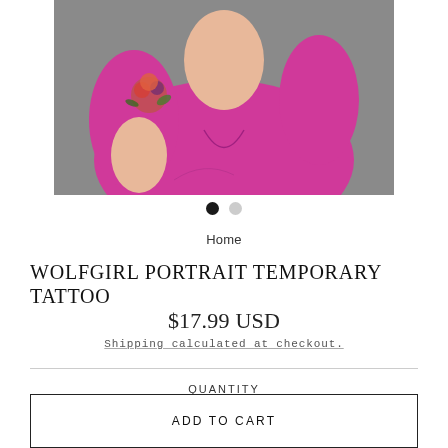[Figure (photo): Woman in bright pink/magenta dress with a floral tattoo on her arm, photographed against a grey background. The photo is cropped showing from shoulders/chest down to waist.]
Home
WOLFGIRL PORTRAIT TEMPORARY TATTOO
$17.99 USD
Shipping calculated at checkout.
QUANTITY
1
ADD TO CART